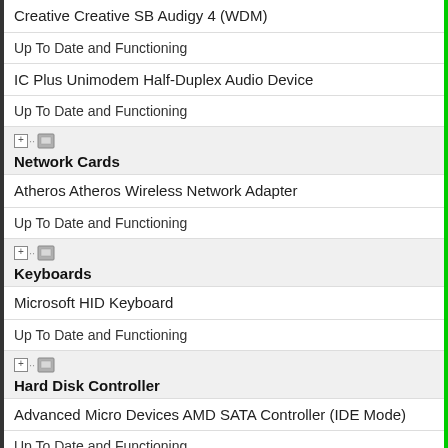Creative Creative SB Audigy 4 (WDM)
Up To Date and Functioning
IC Plus Unimodem Half-Duplex Audio Device
Up To Date and Functioning
Network Cards
Atheros Atheros Wireless Network Adapter
Up To Date and Functioning
Keyboards
Microsoft HID Keyboard
Up To Date and Functioning
Hard Disk Controller
Advanced Micro Devices AMD SATA Controller (IDE Mode)
Up To Date and Functioning
Others
UPEK TouchChip Fingerprint Coprocessor